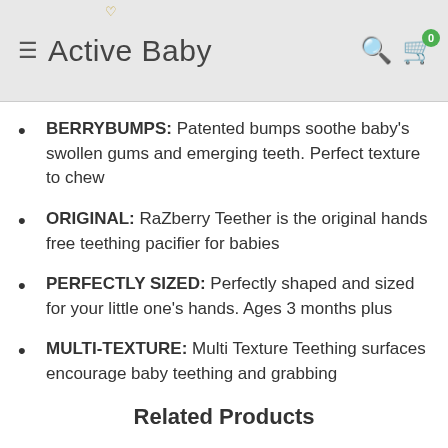Active Baby
BERRYBUMPS: Patented bumps soothe baby's swollen gums and emerging teeth. Perfect texture to chew
ORIGINAL: RaZberry Teether is the original hands free teething pacifier for babies
PERFECTLY SIZED: Perfectly shaped and sized for your little one's hands. Ages 3 months plus
MULTI-TEXTURE: Multi Texture Teething surfaces encourage baby teething and grabbing
Related Products